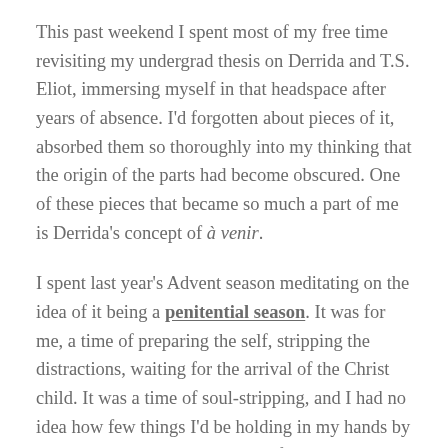This past weekend I spent most of my free time revisiting my undergrad thesis on Derrida and T.S. Eliot, immersing myself in that headspace after years of absence. I'd forgotten about pieces of it, absorbed them so thoroughly into my thinking that the origin of the parts had become obscured. One of these pieces that became so much a part of me is Derrida's concept of à venir.
I spent last year's Advent season meditating on the idea of it being a penitential season. It was for me, a time of preparing the self, stripping the distractions, waiting for the arrival of the Christ child. It was a time of soul-stripping, and I had no idea how few things I'd be holding in my hands by the time it was over. The year before was much the same — feeling pressed in, pressed down, holding my breath as I let things go and slapping God's name on it to make sense of it all.
There is so much brokenness. My brain is on overdrive.